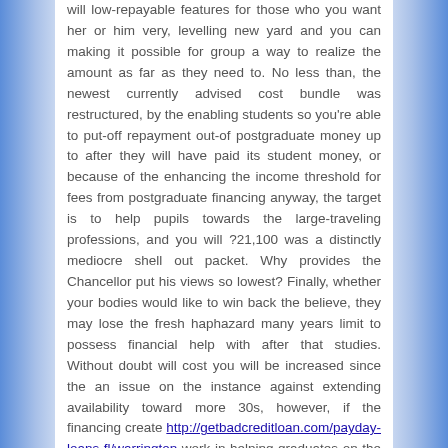will low-repayable features for those who you want her or him very, levelling new yard and you can making it possible for group a way to realize the amount as far as they need to. No less than, the newest currently advised cost bundle was restructured, by the enabling students so you're able to put-off repayment out-of postgraduate money up to after they will have paid its student money, or because of the enhancing the income threshold for fees from postgraduate financing anyway, the target is to help pupils towards the large-traveling professions, and you will ?21,100 was a distinctly mediocre shell out packet. Why provides the Chancellor put his views so lowest? Finally, whether your bodies would like to win back the believe, they may lose the fresh haphazard many years limit to possess financial help with after that studies. Without doubt will cost you will be increased since the an issue on the instance against extending availability toward more 30s, however, if the financing create http://getbadcreditloan.com/payday-loans-fl/warrington work in helping graduates on the greatest efforts, they positively end up being using them from, having interest, right away. Osborne just need to have a